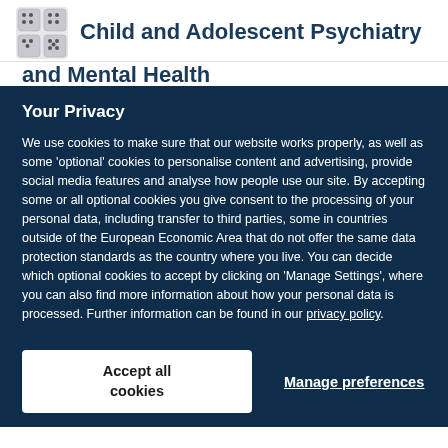Child and Adolescent Psychiatry and Mental Health
Your Privacy
We use cookies to make sure that our website works properly, as well as some 'optional' cookies to personalise content and advertising, provide social media features and analyse how people use our site. By accepting some or all optional cookies you give consent to the processing of your personal data, including transfer to third parties, some in countries outside of the European Economic Area that do not offer the same data protection standards as the country where you live. You can decide which optional cookies to accept by clicking on 'Manage Settings', where you can also find more information about how your personal data is processed. Further information can be found in our privacy policy.
Accept all cookies
Manage preferences